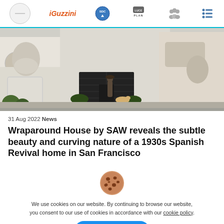iGuzzini | SDC | LUCEPLAN | [people icon] | [menu icon]
[Figure (photo): Exterior of a San Francisco residential street showing a 1930s Spanish Revival home with white stucco facade, black garage door, ornate neighboring buildings, potted topiaries, and a person walking a golden dog on the sidewalk.]
31 Aug 2022 News
Wraparound House by SAW reveals the subtle beauty and curving nature of a 1930s Spanish Revival home in San Francisco
[Figure (illustration): Cookie emoji icon — brown cookie with chocolate chips]
We use cookies on our website. By continuing to browse our website, you consent to our use of cookies in accordance with our cookie policy.
I Accept